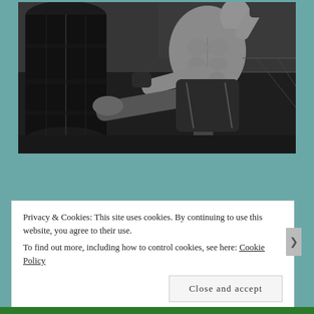[Figure (photo): Black and white photograph of a muscular shirtless man performing a high kick against a heavy punching bag in a gym setting]
Privacy & Cookies: This site uses cookies. By continuing to use this website, you agree to their use.
To find out more, including how to control cookies, see here: Cookie Policy
Close and accept